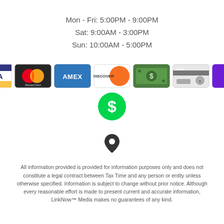Mon - Fri: 5:00PM - 9:00PM
Sat: 9:00AM - 3:00PM
Sun: 10:00AM - 5:00PM
[Figure (infographic): Payment method icons: Visa, MasterCard, Amex, Discover, Cash, Debit, Zelle, Cash App]
[Figure (infographic): Location pin icon]
All information provided is provided for information purposes only and does not constitute a legal contract between Tax Time and any person or entity unless otherwise specified. Information is subject to change without prior notice. Although every reasonable effort is made to present current and accurate information, LinkNow™ Media makes no guarantees of any kind.